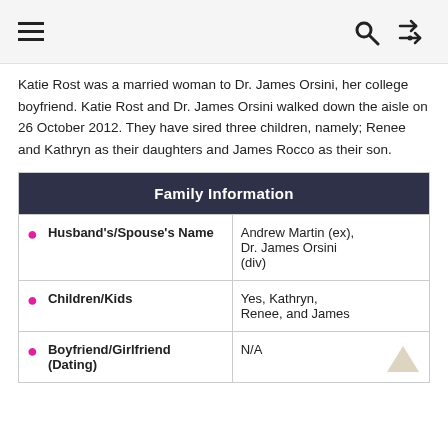hamburger menu, search icon, shuffle icon
Katie Rost was a married woman to Dr. James Orsini, her college boyfriend. Katie Rost and Dr. James Orsini walked down the aisle on 26 October 2012. They have sired three children, namely; Renee and Kathryn as their daughters and James Rocco as their son.
| Family Information |
| --- |
| Husband's/Spouse's Name | Andrew Martin (ex), Dr. James Orsini (div) |
| Children/Kids | Yes, Kathryn, Renee, and James |
| Boyfriend/Girlfriend (Dating) | N/A |